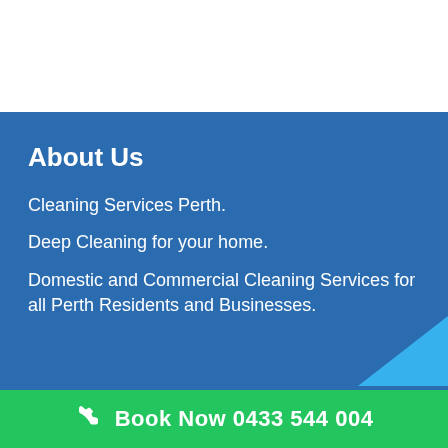About Us
Cleaning Services Perth.
Deep Cleaning for your home.
Domestic and Commercial Cleaning Services for all Perth Residents and Businesses.
Book Now 0433 544 004